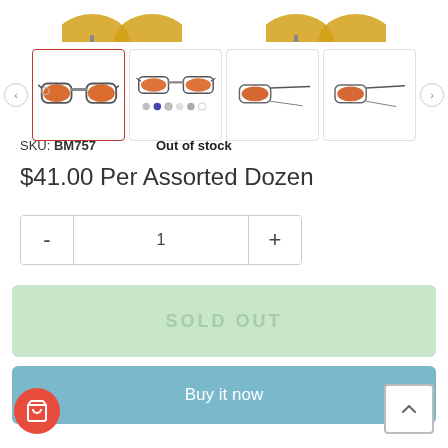[Figure (photo): Partial view of sunglasses product images at top of page (cropped)]
[Figure (photo): Row of four sunglasses thumbnail images with navigation arrows. First thumbnail selected with red border showing front view, second shows color variants, third shows side profile, fourth shows angled view.]
SKU: BM757   Out of stock
$41.00 Per Assorted Dozen
SOLD OUT
Buy it now